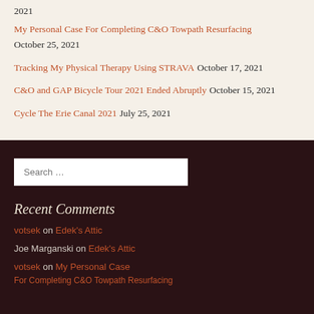2021
My Personal Case For Completing C&O Towpath Resurfacing October 25, 2021
Tracking My Physical Therapy Using STRAVA October 17, 2021
C&O and GAP Bicycle Tour 2021 Ended Abruptly October 15, 2021
Cycle The Erie Canal 2021 July 25, 2021
Search …
Recent Comments
votsek on Edek's Attic
Joe Marganski on Edek's Attic
votsek on My Personal Case For Completing C&O Towpath Resurfacing